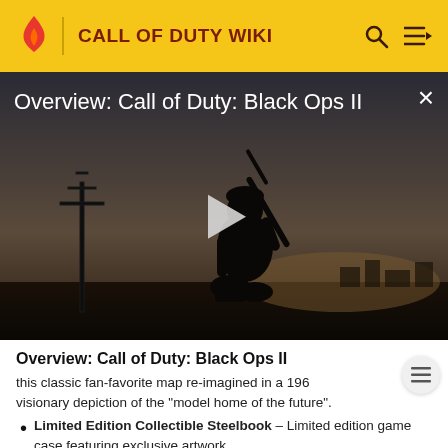CALL OF DUTY WIKI
[Figure (screenshot): Video player showing a dark silhouette of a soldier kneeling with a rifle against a dusky sky background, with a white play button in the center and title 'Overview: Call of Duty: Black Ops II' in white text at top left, and an X close button at top right.]
Overview: Call of Duty: Black Ops II
this classic fan-favorite map re-imagined in a 196 visionary depiction of the "model home of the future".
Limited Edition Collectible Steelbook – Limited edition game case featuring exclusive artwork.